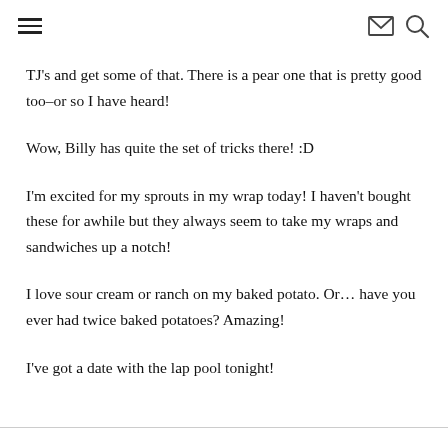≡  ✉ 🔍
TJ's and get some of that. There is a pear one that is pretty good too–or so I have heard!
Wow, Billy has quite the set of tricks there! :D
I'm excited for my sprouts in my wrap today! I haven't bought these for awhile but they always seem to take my wraps and sandwiches up a notch!
I love sour cream or ranch on my baked potato. Or… have you ever had twice baked potatoes? Amazing!
I've got a date with the lap pool tonight!